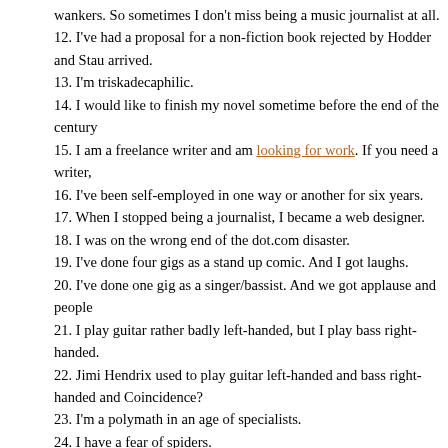wankers. So sometimes I don't miss being a music journalist at all.
12. I've had a proposal for a non-fiction book rejected by Hodder and Stau arrived.
13. I'm triskadecaphilic.
14. I would like to finish my novel sometime before the end of the century
15. I am a freelance writer and am looking for work. If you need a writer,
16. I've been self-employed in one way or another for six years.
17. When I stopped being a journalist, I became a web designer.
18. I was on the wrong end of the dot.com disaster.
19. I've done four gigs as a stand up comic. And I got laughs.
20. I've done one gig as a singer/bassist. And we got applause and people
21. I play guitar rather badly left-handed, but I play bass right-handed.
22. Jimi Hendrix used to play guitar left-handed and bass right-handed and Coincidence?
23. I'm a polymath in an age of specialists.
24. I have a fear of spiders.
25. I have conquered (almost) my fear of record shops.
26. I am still utterly, pant-wettingly terrified of driving, so I haven't driven
27. Every year I wonder if this is the year I'm going to have to start drivin
28. I am completely in support of equal clothing rights for men, and am ve